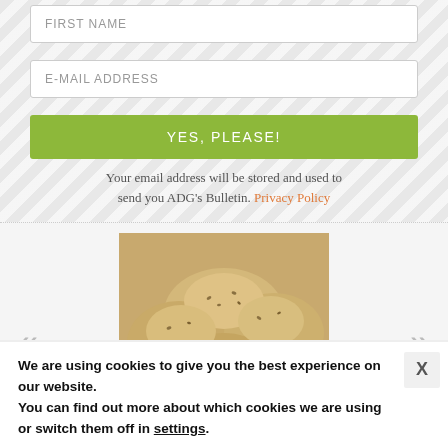FIRST NAME
E-MAIL ADDRESS
YES, PLEASE!
Your email address will be stored and used to send you ADG's Bulletin. Privacy Policy
[Figure (photo): Photo of muffins/cupcakes in a baking tray, golden yellow with seeds]
We are using cookies to give you the best experience on our website.
You can find out more about which cookies we are using or switch them off in settings.
[Figure (infographic): SHE Media Partner Network advertisement banner - Earning site & social revenue, Learn More, Become a Member]